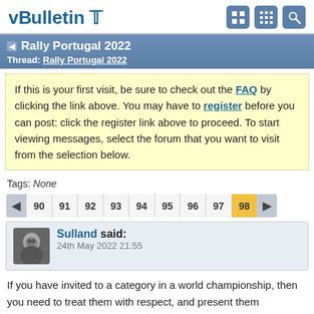vBulletin
Rally Portugal 2022
Thread: Rally Portugal 2022
If this is your first visit, be sure to check out the FAQ by clicking the link above. You may have to register before you can post: click the register link above to proceed. To start viewing messages, select the forum that you want to visit from the selection below.
Tags: None
90 91 92 93 94 95 96 97 98
Sulland said:
24th May 2022 21:55
If you have invited to a category in a world championship, then you need to treat them with respect, and present them